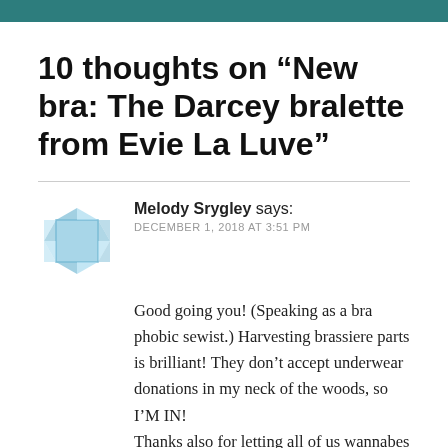10 thoughts on “New bra: The Darcey bralette from Evie La Luve”
Melody Srygley says:
DECEMBER 1, 2018 AT 3:51 PM

Good going you! (Speaking as a bra phobic sewist.) Harvesting brassiere parts is brilliant! They don’t accept underwear donations in my neck of the woods, so I’M IN!
Thanks also for letting all of us wannabes in on your lingerie journey. You persevered, and live to bralette another